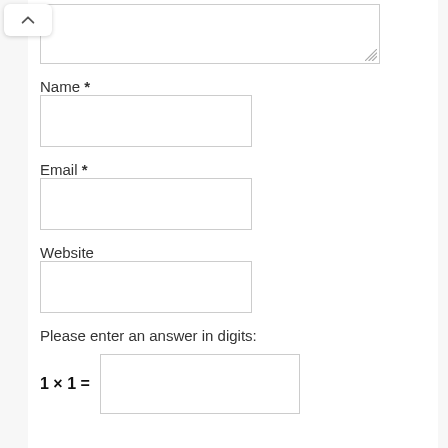[Figure (screenshot): Textarea input box at top of form, partially visible with resize handle at bottom right]
Name *
[Figure (screenshot): Name text input field (empty)]
Email *
[Figure (screenshot): Email text input field (empty)]
Website
[Figure (screenshot): Website text input field (empty)]
Please enter an answer in digits:
[Figure (screenshot): CAPTCHA answer input field (empty)]